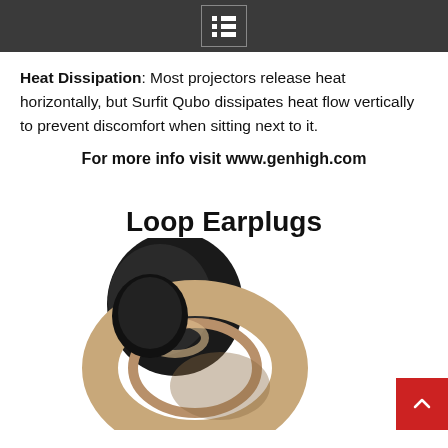[menu icon]
Heat Dissipation: Most projectors release heat horizontally, but Surfit Qubo dissipates heat flow vertically to prevent discomfort when sitting next to it.
For more info visit www.genhigh.com
Loop Earplugs
[Figure (photo): Loop earplugs product photo showing a gold/bronze colored ring-shaped earplug with a black circular body, photographed on a white background.]